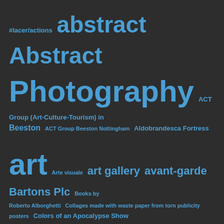[Figure (infographic): Tag cloud / word cloud on dark background with blue text. Tags include: #lacer/actions, abstract, Abstract Photography, ACT Group (Art-Culture-Tourism) in Beeston, ACT Group Beeston Nottingham, Aldobrandesca Fortress, art, Arte visuale, art gallery, avant-garde, Bartons Plc, Books by Roberto Alborghetti, Collages made with waste paper from torn publicity posters, Colors of an Apocalypse Show, communication, Contemporary art, CRACKS, CRACKS & SCRATCHES, Cracks by Roberto Alborghetti, creativity, cultura, culture, design, diy, education, Exhibitions, fotografia, innovation, inspiration, Italian art events 2012, italy, lacer/actions, Lacer/actions by Roberto Alborghetti, Lacer/actions Collages, Lacer/actions Project, Macro Photography]